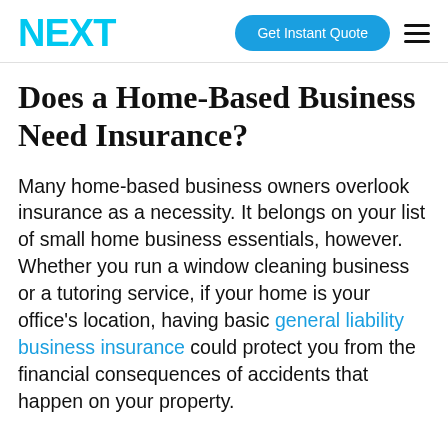NEXT
Does a Home-Based Business Need Insurance?
Many home-based business owners overlook insurance as a necessity. It belongs on your list of small home business essentials, however. Whether you run a window cleaning business or a tutoring service, if your home is your office's location, having basic general liability business insurance could protect you from the financial consequences of accidents that happen on your property.